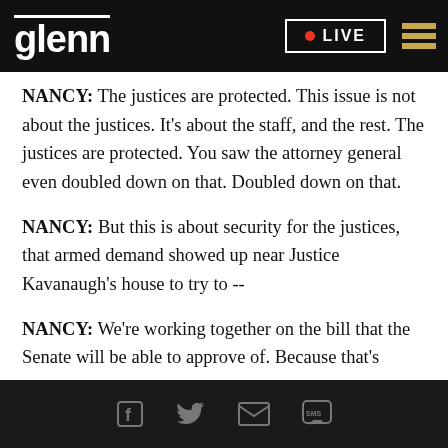glenn • LIVE
NANCY: The justices are protected. This issue is not about the justices. It's about the staff, and the rest. The justices are protected. You saw the attorney general even doubled down on that. Doubled down on that.
NANCY: But this is about security for the justices, that armed demand showed up near Justice Kavanaugh's house to try to --
NANCY: We're working together on the bill that the Senate will be able to approve of. Because that's
Social share icons: Facebook, Twitter, Email, SMS